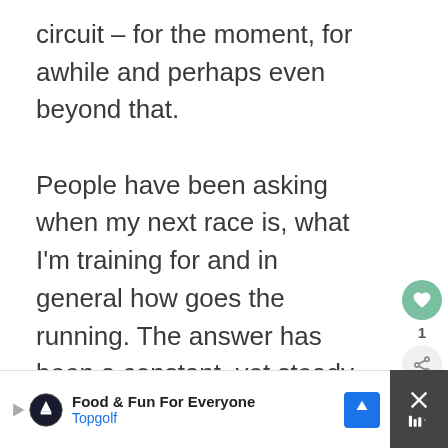circuit – for the moment, for awhile and perhaps even beyond that.

People have been asking when my next race is, what I'm training for and in general how goes the running. The answer has been a constant, yet steady hesitation leading to a mostly wishy-washy one.
[Figure (other): UI buttons: heart/like button (green circle with heart icon), count of 1, and share button (light circle with share icon)]
[Figure (other): Advertisement banner: Topgolf logo with play arrow icon, text 'Food & Fun For Everyone', 'Topgolf' in blue, blue diamond arrow button on right, dark close panel on far right with X and audio icon]